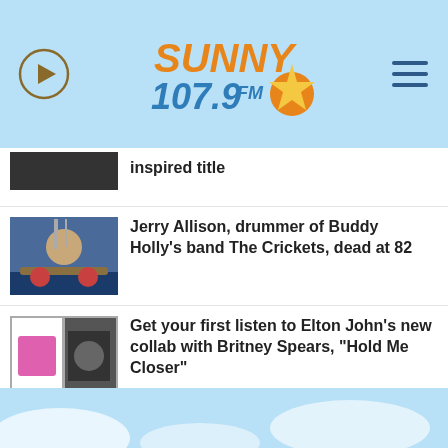Sunny 107.9 FM — navigation header with play button and hamburger menu
inspired title
Jerry Allison, drummer of Buddy Holly's band The Crickets, dead at 82
Get your first listen to Elton John's new collab with Britney Spears, "Hold Me Closer"
New album featuring rerecorded Grass Roots hits due out in September
Goo Goo Dolls bringing 'Chaos' to crowds on